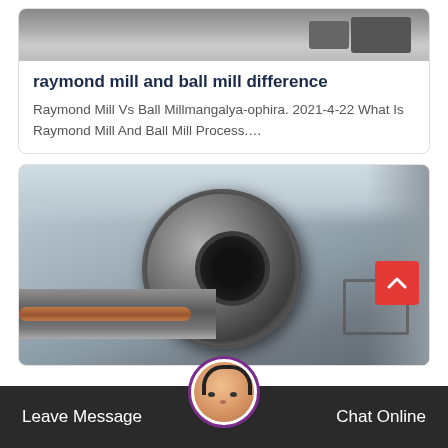[Figure (photo): Partial view of industrial machinery, grey metal equipment visible at top of card]
raymond mill and ball mill difference
Raymond Mill Vs Ball Millmangalya-ophira. 2021-4-22 What Is Raymond Mill And Ball Mill Process....
[Figure (photo): Large industrial ball mill inside a factory building, showing a large rotating cylindrical drum with steel structure, pipes, and industrial roofing in background]
Leave Message
Chat Online